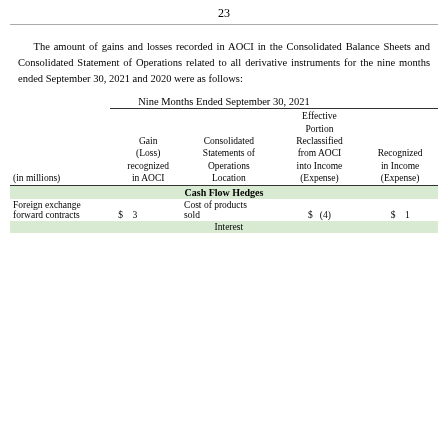23
The amount of gains and losses recorded in AOCI in the Consolidated Balance Sheets and Consolidated Statement of Operations related to all derivative instruments for the nine months ended September 30, 2021 and 2020 were as follows:
| (in millions) | Gain (Loss) recognized in AOCI | Consolidated Statements of Operations Location | Effective Portion Reclassified from AOCI into Income (Expense) | Recognized in Income (Expense) |
| --- | --- | --- | --- | --- |
| Cash Flow Hedges |  |  |  |  |
| Foreign exchange forward contracts | $   3 | Cost of products sold | $   (4) | $   1 |
|  |  | Interest |  |  |